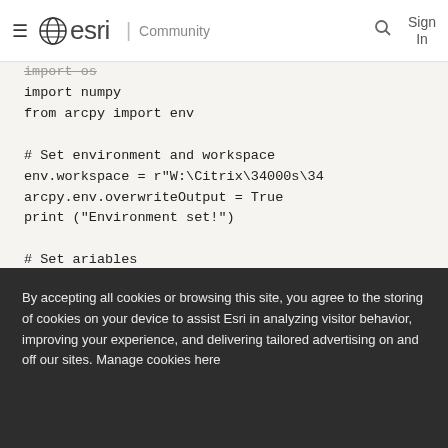esri Community
[Figure (screenshot): Code block showing Python script with import statements and variable assignments for ArcPy environment setup]
By accepting all cookies or browsing this site, you agree to the storing of cookies on your device to assist Esri in analyzing visitor behavior, improving your experience, and delivering tailored advertising on and off our sites. Manage cookies here